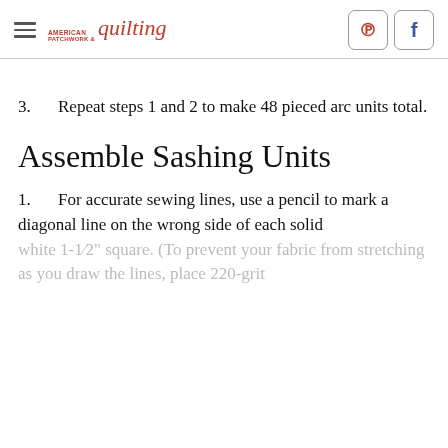American Patchwork & Quilting — with Pinterest and Facebook icons
3.     Repeat steps 1 and 2 to make 48 pieced arc units total.
Assemble Sashing Units
1.     For accurate sewing lines, use a pencil to mark a diagonal line on the wrong side of each solid white 1-1⁄2" square. (To prevent your fabric from stretching as you draw the lines, place 220-grit